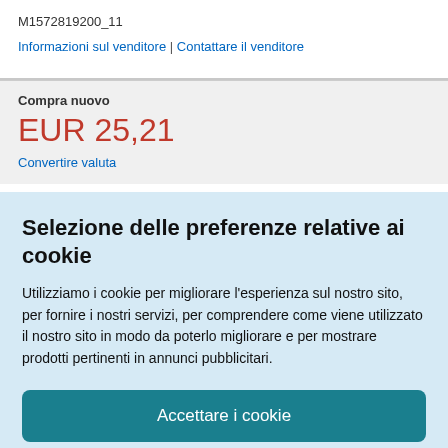M1572819200_11
Informazioni sul venditore | Contattare il venditore
Compra nuovo
EUR 25,21
Convertire valuta
Selezione delle preferenze relative ai cookie
Utilizziamo i cookie per migliorare l'esperienza sul nostro sito, per fornire i nostri servizi, per comprendere come viene utilizzato il nostro sito in modo da poterlo migliorare e per mostrare prodotti pertinenti in annunci pubblicitari.
Accettare i cookie
Personalizzare i cookie